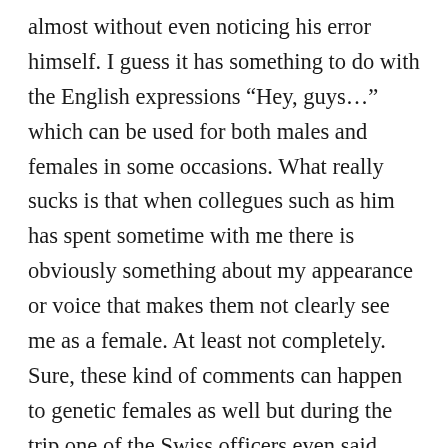almost without even noticing his error himself. I guess it has something to do with the English expressions “Hey, guys…” which can be used for both males and females in some occasions. What really sucks is that when collegues such as him has spent sometime with me there is obviously something about my appearance or voice that makes them not clearly see me as a female. At least not completely. Sure, these kind of comments can happen to genetic females as well but during the trip one of the Swiss officers even said “Let’s have the woman in the middle in the photo…” and he was referring to the other woman in the group. Again clearly spontaneously not thinking of me as a woman. Again not meant to be